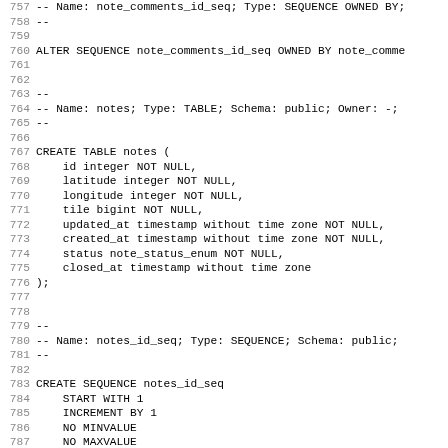SQL schema code listing lines 757-788 showing ALTER SEQUENCE, CREATE TABLE notes, and CREATE SEQUENCE notes_id_seq statements